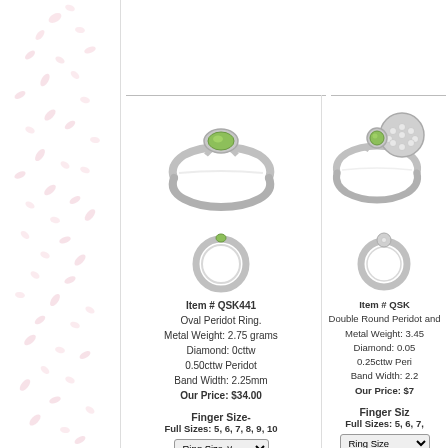[Figure (photo): Left decorative border with pink floral/petal pattern on white background]
[Figure (photo): Oval Peridot Ring shown in side view - silver ring with oval green peridot stone in bezel setting]
[Figure (photo): Small top-down circular view of the Oval Peridot Ring]
Item # QSK441
Oval Peridot Ring.
Metal Weight: 2.75 grams
Diamond: 0cttw
0.50cttw Peridot
Band Width: 2.25mm
Our Price: $34.00
Finger Size-
Full Sizes: 5, 6, 7, 8, 9, 10
Special Order Item-
[Figure (photo): Double Round Peridot and diamond ring shown in side view - silver ring with round diamond cluster and green peridot stones]
[Figure (photo): Small top-down circular view of the Double Round Peridot ring]
Item # QSK...
Double Round Peridot and...
Metal Weight: 3.45...
Diamond: 0.05...
0.25cttw Peri...
Band Width: 2.2...
Our Price: $7...
Finger Siz-
Full Sizes: 5, 6, 7,...
Special Order I...